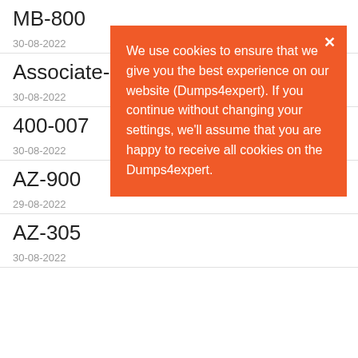MB-800
30-08-2022
Associate-Cloud
30-08-2022
400-007
30-08-2022
AZ-900
29-08-2022
AZ-305
30-08-2022
We use cookies to ensure that we give you the best experience on our website (Dumps4expert). If you continue without changing your settings, we'll assume that you are happy to receive all cookies on the Dumps4expert.